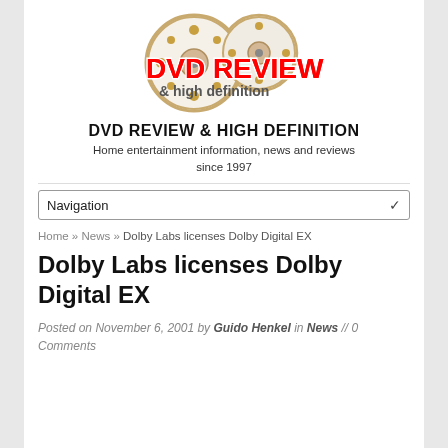[Figure (logo): DVD Review & High Definition logo with film reels and circular design, red bold text 'DVD REVIEW' with '& high definition' subtitle]
DVD REVIEW & HIGH DEFINITION
Home entertainment information, news and reviews since 1997
Navigation
Home » News » Dolby Labs licenses Dolby Digital EX
Dolby Labs licenses Dolby Digital EX
Posted on November 6, 2001 by Guido Henkel in News // 0 Comments